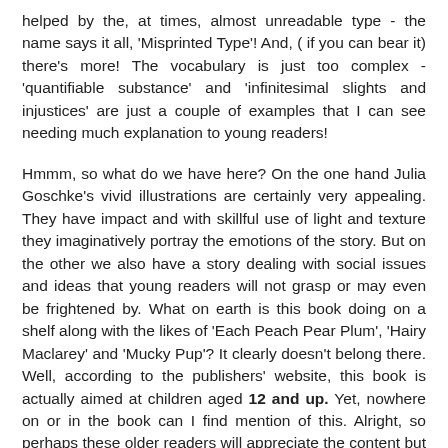helped by the, at times, almost unreadable type - the name says it all, 'Misprinted Type'! And, ( if you can bear it) there's more! The vocabulary is just too complex - 'quantifiable substance' and 'infinitesimal slights and injustices' are just a couple of examples that I can see needing much explanation to young readers!
Hmmm, so what do we have here? On the one hand Julia Goschke's vivid illustrations are certainly very appealing. They have impact and with skillful use of light and texture they imaginatively portray the emotions of the story. But on the other we also have a story dealing with social issues and ideas that young readers will not grasp or may even be frightened by. What on earth is this book doing on a shelf along with the likes of 'Each Peach Pear Plum', 'Hairy Maclarey' and 'Mucky Pup'? It clearly doesn't belong there. Well, according to the publishers' website, this book is actually aimed at children aged 12 and up. Yet, nowhere on or in the book can I find mention of this. Alright, so perhaps these older readers will appreciate the content but tell me this - would a self-respecting 12 year old still want to read a picture book? For this is what it is and not the graphic novel